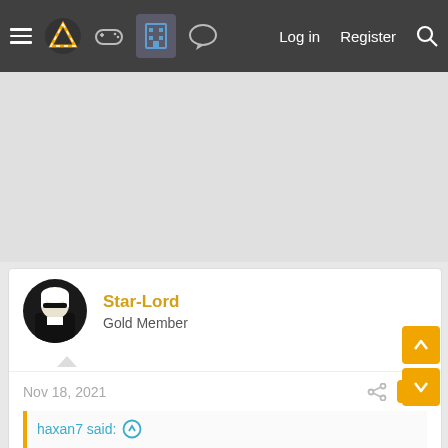Navigation bar with hamburger menu, logo, controller icon, building icon (active), chat icon, Log in, Register, Search
[Figure (other): Gray advertisement/banner area]
Star-Lord
Gold Member
Nov 18, 2021  #3
haxan7 said:
How's everyone doing today?